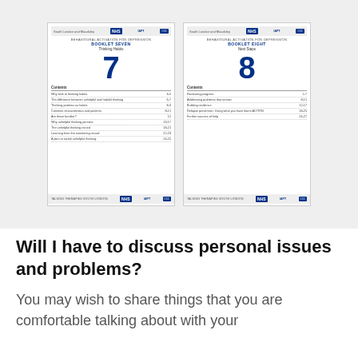[Figure (illustration): Two NHS booklet covers shown side by side. Booklet Seven: Behavioural Activation for Depression - Thinking Habits, with a large blue number 7. Booklet Eight: Behavioural Activation for Depression - Next Steps, with a large blue number 8. Each booklet has a table of contents listed.]
Will I have to discuss personal issues and problems?
You may wish to share things that you are comfortable talking about with your